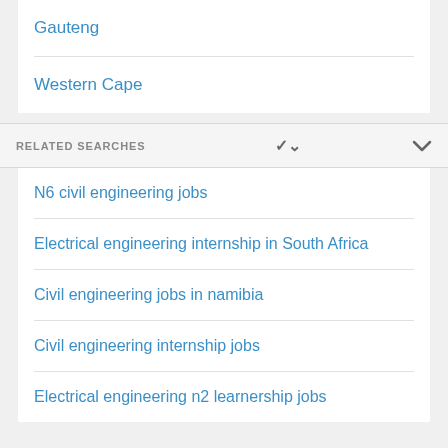Gauteng
Western Cape
RELATED SEARCHES
N6 civil engineering jobs
Electrical engineering internship in South Africa
Civil engineering jobs in namibia
Civil engineering internship jobs
Electrical engineering n2 learnership jobs